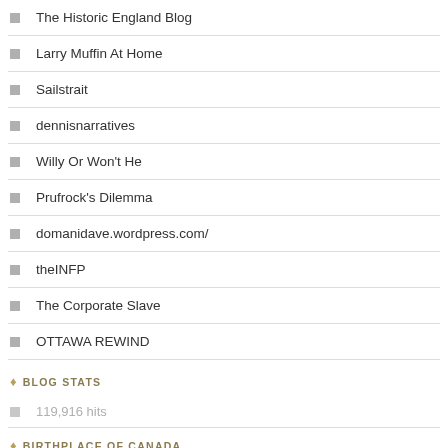The Historic England Blog
Larry Muffin At Home
Sailstrait
dennisnarratives
Willy Or Won't He
Prufrock's Dilemma
domanidave.wordpress.com/
theINFP
The Corporate Slave
OTTAWA REWIND
BLOG STATS
119,916 hits
BIRTHPLACE OF CANADA
C1A 1A7, Charlottetown, Prince Edward Island, Canada